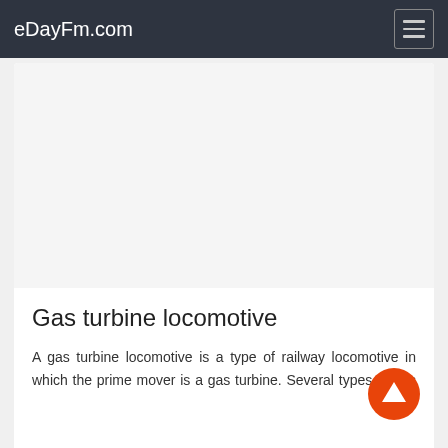eDayFm.com
Gas turbine locomotive
A gas turbine locomotive is a type of railway locomotive in which the prime mover is a gas turbine. Several types of gas turbine locomotive have been developed, differing mainly in the means by which mechanical power is conveyed to the driving wheels .
[Figure (other): Scroll-to-top circular orange button with upward arrow icon]